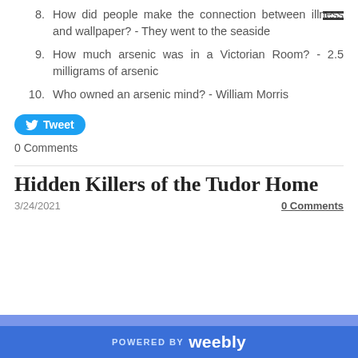8. How did people make the connection between illness and wallpaper? - They went to the seaside
9. How much arsenic was in a Victorian Room? - 2.5 milligrams of arsenic
10. Who owned an arsenic mind? - William Morris
Tweet
0 Comments
Hidden Killers of the Tudor Home
3/24/2021
0 Comments
POWERED BY weebly